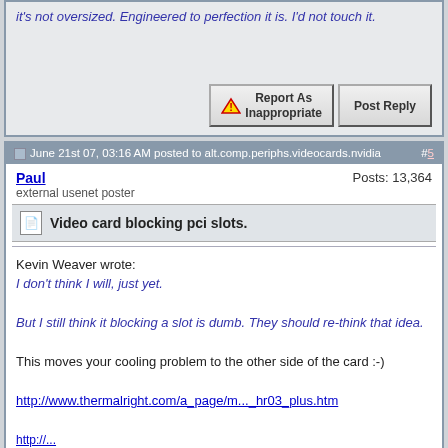it's not oversized. Engineered to perfection it is. I'd not touch it.
[Figure (screenshot): Report As Inappropriate and Post Reply buttons]
June 21st 07, 03:16 AM posted to alt.comp.periphs.videocards.nvidia  #5
Paul  Posts: 13,364
external usenet poster
Video card blocking pci slots.
Kevin Weaver wrote:
I don't think I will, just yet.

But I still think it blocking a slot is dumb. They should re-think that idea.

This moves your cooling problem to the other side of the card :-)

http://www.thermalright.com/a_page/m..._hr03_plus.htm